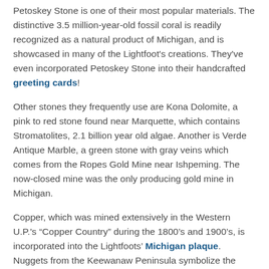Petoskey Stone is one of their most popular materials. The distinctive 3.5 million-year-old fossil coral is readily recognized as a natural product of Michigan, and is showcased in many of the Lightfoot's creations. They've even incorporated Petoskey Stone into their handcrafted greeting cards!
Other stones they frequently use are Kona Dolomite, a pink to red stone found near Marquette, which contains Stromatolites, 2.1 billion year old algae. Another is Verde Antique Marble, a green stone with gray veins which comes from the Ropes Gold Mine near Ishpeming. The now-closed mine was the only producing gold mine in Michigan.
Copper, which was mined extensively in the Western U.P.'s “Copper Country” during the 1800's and 1900's, is incorporated into the Lightfoots' Michigan plaque. Nuggets from the Keewanaw Peninsula symbolize the